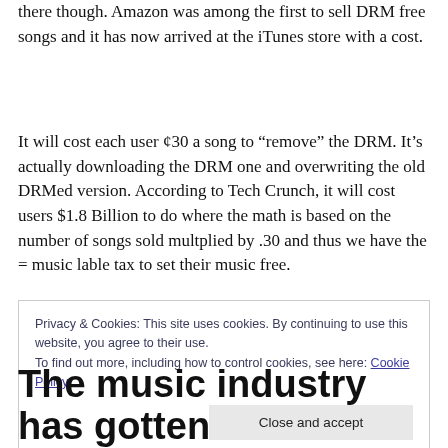there though. Amazon was among the first to sell DRM free songs and it has now arrived at the iTunes store with a cost.
It will cost each user ¢30 a song to “remove” the DRM. It’s actually downloading the DRM one and overwriting the old DRMed version. According to Tech Crunch, it will cost users $1.8 Billion to do where the math is based on the number of songs sold multplied by .30 and thus we have the = music lable tax to set their music free.
Privacy & Cookies: This site uses cookies. By continuing to use this website, you agree to their use.
To find out more, including how to control cookies, see here: Cookie Policy
The music industry has gotten